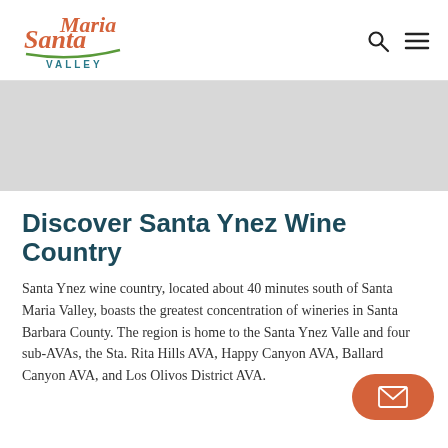[Figure (logo): Santa Maria Valley logo in orange script with green underline and 'VALLEY' text in teal]
Discover Santa Ynez Wine Country
Santa Ynez wine country, located about 40 minutes south of Santa Maria Valley, boasts the greatest concentration of wineries in Santa Barbara County. The region is home to the Santa Ynez Valley and four sub-AVAs, the Sta. Rita Hills AVA, Happy Canyon AVA, Ballard Canyon AVA, and Los Olivos District AVA.